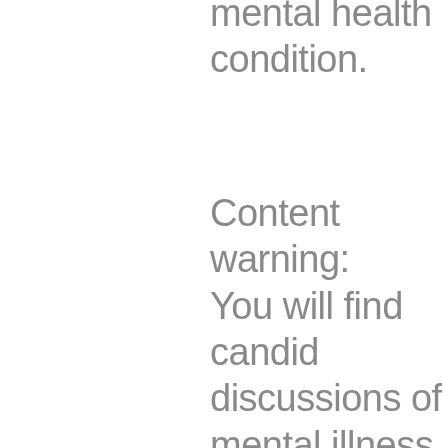mental health condition.
Content warning: You will find candid discussions of mental illness, self harm, abuse, neglect and